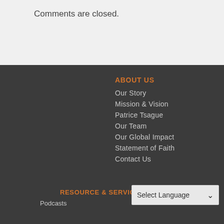Comments are closed.
ABOUT US
Our Story
Mission & Vision
Patrice Tsague
Our Team
Our Global Impact
Statement of Faith
Contact Us
RESOURCE & SERVICES
Podcasts
Select Language